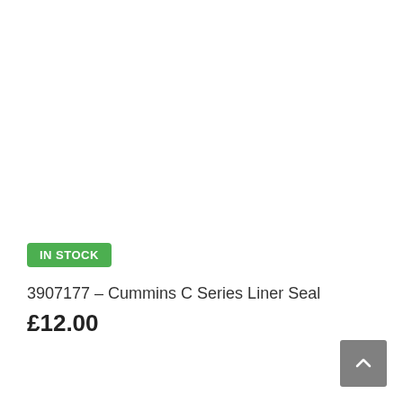IN STOCK
3907177 – Cummins C Series Liner Seal
£12.00